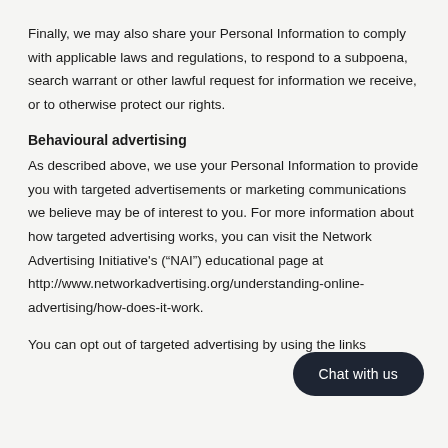Finally, we may also share your Personal Information to comply with applicable laws and regulations, to respond to a subpoena, search warrant or other lawful request for information we receive, or to otherwise protect our rights.
Behavioural advertising
As described above, we use your Personal Information to provide you with targeted advertisements or marketing communications we believe may be of interest to you. For more information about how targeted advertising works, you can visit the Network Advertising Initiative's (“NAI”) educational page at http://www.networkadvertising.org/understanding-online-advertising/how-does-it-work.
You can opt out of targeted advertising by using the links